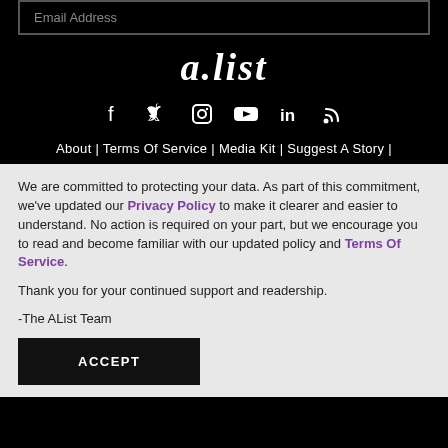Email Address
[Figure (logo): a.list logo in white italic bold text on black background]
[Figure (infographic): Social media icons: Facebook, Twitter, Instagram, YouTube, LinkedIn, RSS]
About | Terms Of Service | Media Kit | Suggest A Story |
We are committed to protecting your data. As part of this commitment, we've updated our Privacy Policy to make it clearer and easier to understand. No action is required on your part, but we encourage you to read and become familiar with our updated policy and Terms Of Service.
Thank you for your continued support and readership.
-The AList Team
ACCEPT